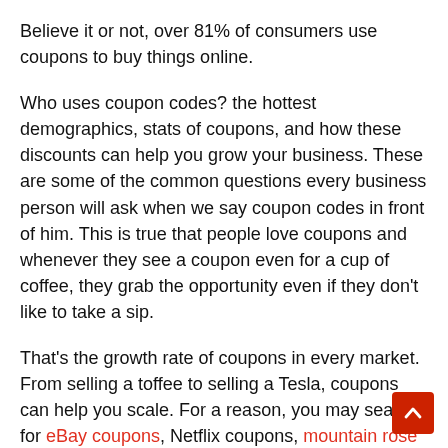Believe it or not, over 81% of consumers use coupons to buy things online.
Who uses coupon codes? the hottest demographics, stats of coupons, and how these discounts can help you grow your business. These are some of the common questions every business person will ask when we say coupon codes in front of him. This is true that people love coupons and whenever they see a coupon even for a cup of coffee, they grab the opportunity even if they don't like to take a sip.
That's the growth rate of coupons in every market. From selling a toffee to selling a Tesla, coupons can help you scale. For a reason, you may search for eBay coupons, Netflix coupons, mountain rose herbs coupon, Web-hosting coupons, or something else and this is the simplest way to save some bucks for your next